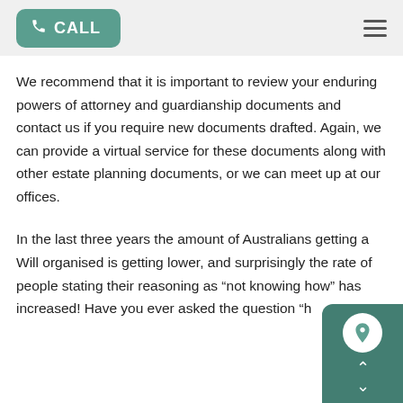CALL
We recommend that it is important to review your enduring powers of attorney and guardianship documents and contact us if you require new documents drafted. Again, we can provide a virtual service for these documents along with other estate planning documents, or we can meet up at our offices.
In the last three years the amount of Australians getting a Will organised is getting lower, and surprisingly the rate of people stating their reasoning as “not knowing how” has increased! Have you ever asked the question “h...